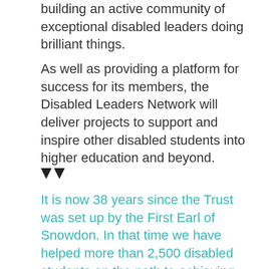building an active community of exceptional disabled leaders doing brilliant things.
As well as providing a platform for success for its members, the Disabled Leaders Network will deliver projects to support and inspire other disabled students into higher education and beyond.
[Figure (illustration): Double downward-pointing triangle quotation mark icon in dark color]
It is now 38 years since the Trust was set up by the First Earl of Snowdon. In that time we have helped more than 2,500 disabled students on the path to achieving their true potential, with grants and scholarships totalling more than £4 million.